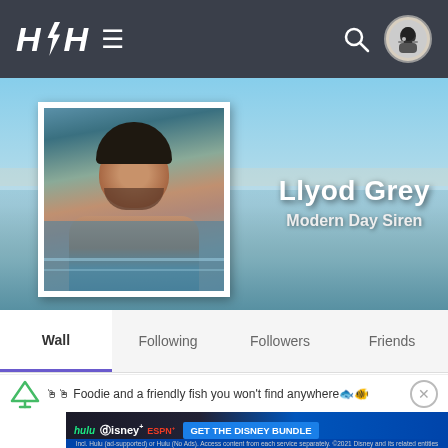HÆH ≡ [navigation bar with logo, hamburger, search, avatar]
[Figure (photo): Hero profile banner with pool water background. Profile photo of a man with dark hair in swimming pool. Name 'Llyod Grey' and subtitle 'Modern Day Siren' displayed on right side.]
Llyod Grey
Modern Day Siren
Wall | Following | Followers | Friends (tab navigation, Wall is active)
🔱 Foodie and a friendly fish you won't find anywhere🐠🐡
[Figure (screenshot): Disney Bundle advertisement banner: hulu Disney+ ESPN+ GET THE DISNEY BUNDLE. Incl. Hulu (ad-supported) or Hulu (No Ads). Access content from each service separately. ©2021 Disney and its related entities]